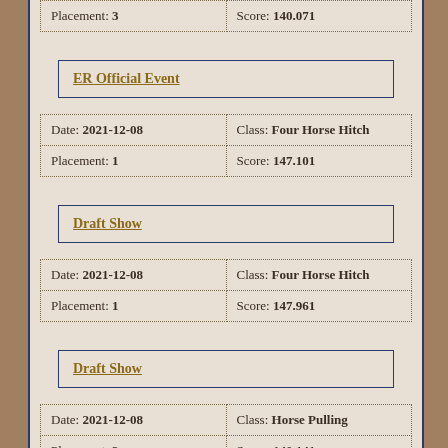| Placement: 3 | Score: 140.071 |
ER Official Event
| Date: 2021-12-08 | Class: Four Horse Hitch |
| Placement: 1 | Score: 147.101 |
Draft Show
| Date: 2021-12-08 | Class: Four Horse Hitch |
| Placement: 1 | Score: 147.961 |
Draft Show
| Date: 2021-12-08 | Class: Horse Pulling |
| Placement: 3 | Score: 140.141 |